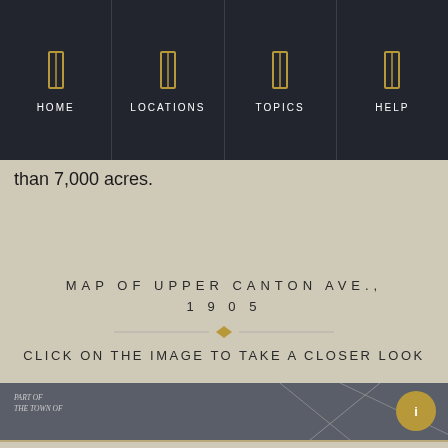HOME  LOCATIONS  TOPICS  HELP
than 7,000 acres.
MAP OF UPPER CANTON AVE., 1905
CLICK ON THE IMAGE TO TAKE A CLOSER LOOK
[Figure (map): Partial view of a historical map labeled 'PART OF THE TOWN OF' from 1905, shown as a dark strip at the bottom of the page with a gold circular button on the right.]